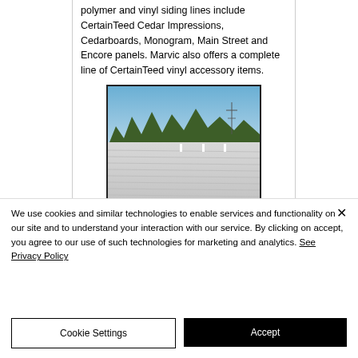polymer and vinyl siding lines include CertainTeed Cedar Impressions, Cedarboards, Monogram, Main Street and Encore panels. Marvic also offers a complete line of CertainTeed vinyl accessory items.
[Figure (photo): Aerial or elevated view of a commercial rooftop — white/light grey roof surface with ribbed panels stretching to the foreground, trees and a power line tower visible in the midground, and a clear blue sky above.]
We use cookies and similar technologies to enable services and functionality on our site and to understand your interaction with our service. By clicking on accept, you agree to our use of such technologies for marketing and analytics. See Privacy Policy